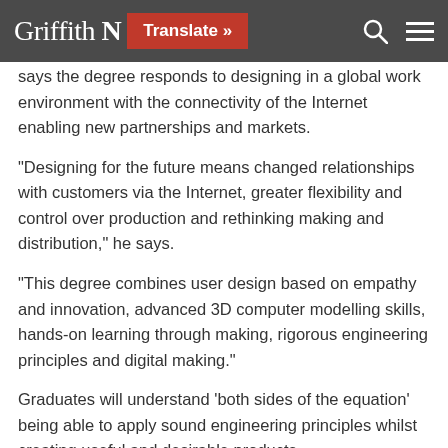Griffith N [Translate »] [search] [menu]
says the degree responds to designing in a global work environment with the connectivity of the Internet enabling new partnerships and markets.
“Designing for the future means changed relationships with customers via the Internet, greater flexibility and control over production and rethinking making and distribution,” he says.
“This degree combines user design based on empathy and innovation, advanced 3D computer modelling skills, hands-on learning through making, rigorous engineering principles and digital making.”
Graduates will understand ‘both sides of the equation’ being able to apply sound engineering principles whilst creating useful and desirable products.